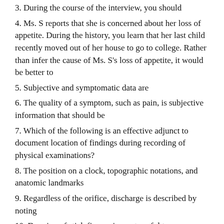3. During the course of the interview, you should
4. Ms. S reports that she is concerned about her loss of appetite. During the history, you learn that her last child recently moved out of her house to go to college. Rather than infer the cause of Ms. S's loss of appetite, it would be better to
5. Subjective and symptomatic data are
6. The quality of a symptom, such as pain, is subjective information that should be
7. Which of the following is an effective adjunct to document location of findings during recording of physical examinations?
8. The position on a clock, topographic notations, and anatomic landmarks
9. Regardless of the orifice, discharge is described by noting
10. Drawing of stick figures is most useful to
11. Which of the following is an example of a problem